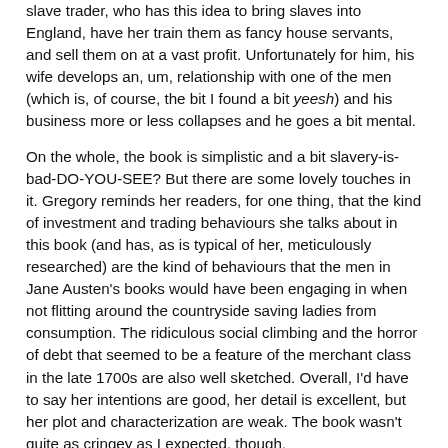slave trader, who has this idea to bring slaves into England, have her train them as fancy house servants, and sell them on at a vast profit. Unfortunately for him, his wife develops an, um, relationship with one of the men (which is, of course, the bit I found a bit yeesh) and his business more or less collapses and he goes a bit mental.
On the whole, the book is simplistic and a bit slavery-is-bad-DO-YOU-SEE? But there are some lovely touches in it. Gregory reminds her readers, for one thing, that the kind of investment and trading behaviours she talks about in this book (and has, as is typical of her, meticulously researched) are the kind of behaviours that the men in Jane Austen's books would have been engaging in when not flitting around the countryside saving ladies from consumption. The ridiculous social climbing and the horror of debt that seemed to be a feature of the merchant class in the late 1700s are also well sketched. Overall, I'd have to say her intentions are good, her detail is excellent, but her plot and characterization are weak. The book wasn't quite as cringey as I expected, though.